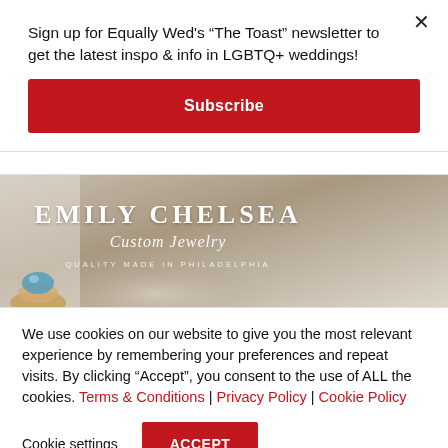Sign up for Equally Wed's “The Toast” newsletter to get the latest inspo & info in LGBTQ+ weddings!
Subscribe
[Figure (photo): Emily Chelsea Custom Jewelry advertisement banner — a tan/beige background with stylized serif text reading EMILY CHELSEA Custom Jewelry QUALITY MADE IN PHILADELPHIA and a ring with a blue gemstone visible at the bottom]
We use cookies on our website to give you the most relevant experience by remembering your preferences and repeat visits. By clicking “Accept”, you consent to the use of ALL the cookies. Terms & Conditions | Privacy Policy | Cookie Policy
Cookie settings
ACCEPT